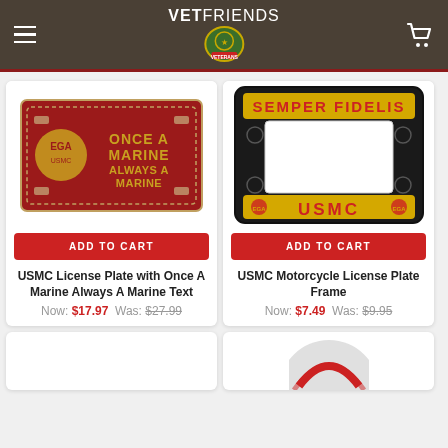VETFRIENDS
[Figure (photo): Red USMC license plate reading ONCE A MARINE ALWAYS A MARINE with gold eagle globe and anchor emblem]
ADD TO CART
USMC License Plate with Once A Marine Always A Marine Text
Now: $17.97  Was: $27.99
[Figure (photo): Black USMC motorcycle license plate frame with SEMPER FIDELIS on top and USMC in gold letters on bottom on yellow background]
ADD TO CART
USMC Motorcycle License Plate Frame
Now: $7.49  Was: $9.95